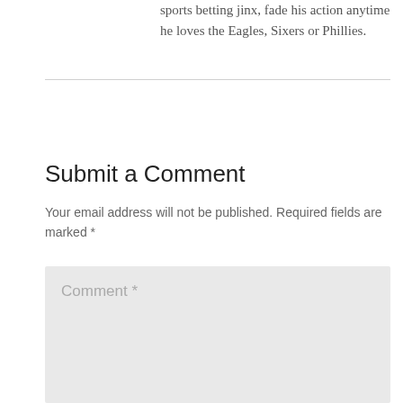sports betting jinx, fade his action anytime he loves the Eagles, Sixers or Phillies.
Submit a Comment
Your email address will not be published. Required fields are marked *
Comment *